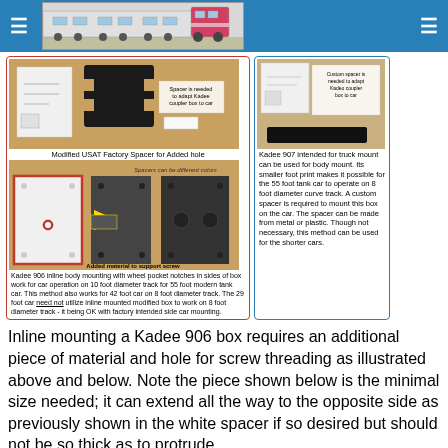Navigation header with train image and menu icons
[Figure (photo): Top portion of a photo showing modified USAT factory spacers and coupler boxes laid out on a wooden surface, with annotations indicating 'Spacer is needed to adapt Kadee coupler box to car']
Modified USAT Factory Spacer for Added hole
[Figure (photo): Photos showing spacer pieces of different colors (white and dark gray) with added material to support screw, with annotations 'Spacers can be different colors' and 'Added material to support screw']
Kadee 906 inline body mounting with wheel pocket notches in sides of box work for car operation on 10 foot diameter track for 55 foot modern tank car. This method also works for 42 foot car on 8 foot diameter track.  The 29 foot car need not utilize inline mounted modified box to work on 8 foot diameter track - it being OK with factory intended side car mounting.
[Figure (photo): Right side photo showing custom spacer needed to adapt Kadee coupler box to car, with a dark spacer strip visible below]
Kadee 907 intended for truck mount can be used for body mount. Its smaller foot print makes it possible for the 55 foot tank car to operate on 8 foot diameter curve track. A custom spacer is required to mount this box on the car. The spacer can be made from metal or plastic.  Though not necessary, this method can be used for the shorter cars.
Inline mounting a Kadee 906 box requires an additional piece of material and hole for screw threading as illustrated above and below.  Note the piece shown below is the minimal size needed; it can extend all the way to the opposite side as previously shown in the white spacer if so desired but should not be so thick as to protrude.